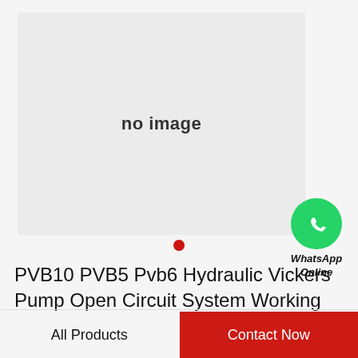[Figure (other): Gray placeholder box with text 'no image' indicating no product photo is available]
[Figure (logo): WhatsApp green circle icon with phone handset, labeled 'WhatsApp Online']
PVB10 PVB5 Pvb6 Hydraulic Vickers Pump Open Circuit System Working Model
All Products
Contact Now